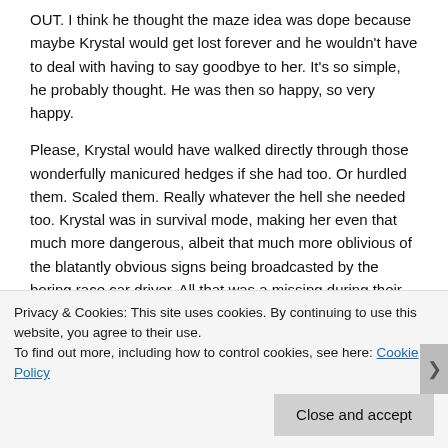OUT. I think he thought the maze idea was dope because maybe Krystal would get lost forever and he wouldn't have to deal with having to say goodbye to her. It's so simple, he probably thought. He was then so happy, so very happy.
Please, Krystal would have walked directly through those wonderfully manicured hedges if she had too. Or hurdled them. Scaled them. Really whatever the hell she needed too. Krystal was in survival mode, making her even that much more dangerous, albeit that much more oblivious of the blatantly obvious signs being broadcasted by the boring race car driver. All that was a missing during their conversation was someone butting in, asking her to wrap it up because the crew was hungry and it was lunch time. Actually, that probably could have happened and she ignored it. Determined Krystal is a
Privacy & Cookies: This site uses cookies. By continuing to use this website, you agree to their use.
To find out more, including how to control cookies, see here: Cookie Policy